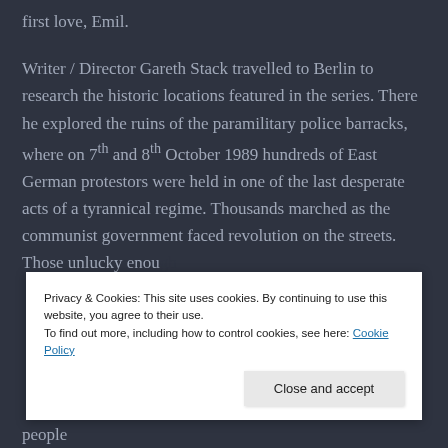first love, Emil.
Writer / Director Gareth Stack travelled to Berlin to research the historic locations featured in the series. There he explored the ruins of the paramilitary police barracks, where on 7th and 8th October 1989 hundreds of East German protestors were held in one of the last desperate acts of a tyrannical regime. Thousands marched as the communist government faced revolution on the streets. Those unlucky enough
Privacy & Cookies: This site uses cookies. By continuing to use this website, you agree to their use.
To find out more, including how to control cookies, see here: Cookie Policy
Close and accept
people